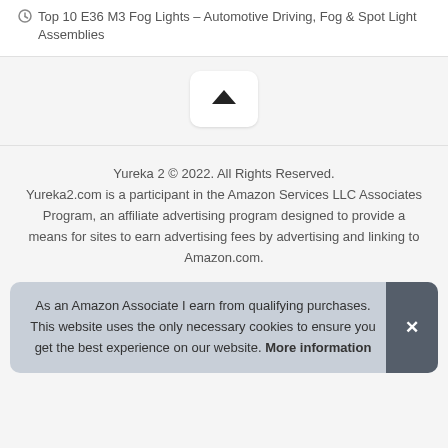Top 10 E36 M3 Fog Lights – Automotive Driving, Fog & Spot Light Assemblies
[Figure (other): Back-to-top button with upward chevron arrow icon on white rounded rectangle card]
Yureka 2 © 2022. All Rights Reserved. Yureka2.com is a participant in the Amazon Services LLC Associates Program, an affiliate advertising program designed to provide a means for sites to earn advertising fees by advertising and linking to Amazon.com.
As an Amazon Associate I earn from qualifying purchases. This website uses the only necessary cookies to ensure you get the best experience on our website. More information